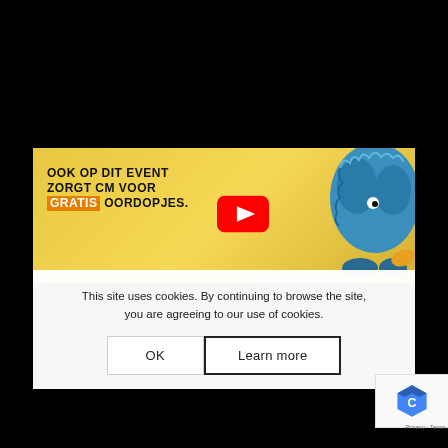[Figure (screenshot): YouTube video thumbnail with yellow background showing a blue fuzzy creature and text in Dutch: 'OOK OP DIT EVENT ZORGT CM VOOR GRATIS OORDOPJES.' with a YouTube play button overlay.]
This site uses cookies. By continuing to browse the site, you are agreeing to our use of cookies.
OK   Learn more